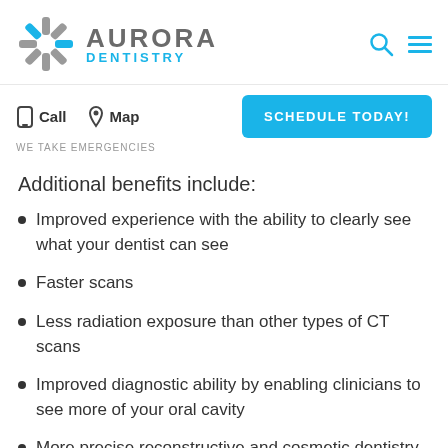[Figure (logo): Aurora Dentistry logo with snowflake/asterisk icon in grey and blue, text AURORA in grey and DENTISTRY in blue]
Call   Map
WE TAKE EMERGENCIES
SCHEDULE TODAY!
Additional benefits include:
Improved experience with the ability to clearly see what your dentist can see
Faster scans
Less radiation exposure than other types of CT scans
Improved diagnostic ability by enabling clinicians to see more of your oral cavity
More precise reconstructive and cosmetic dentistry planning